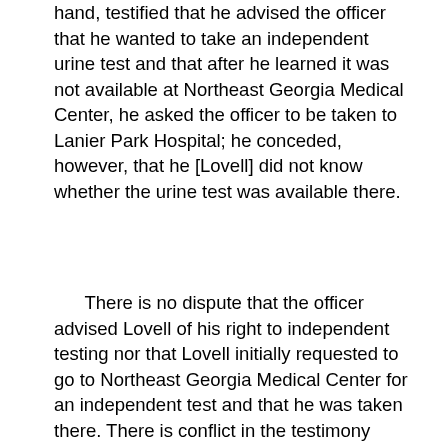hand, testified that he advised the officer that he wanted to take an independent urine test and that after he learned it was not available at Northeast Georgia Medical Center, he asked the officer to be taken to Lanier Park Hospital; he conceded, however, that he [Lovell] did not know whether the urine test was available there.
There is no dispute that the officer advised Lovell of his right to independent testing nor that Lovell initially requested to go to Northeast Georgia Medical Center for an independent test and that he was taken there. There is conflict in the testimony about when the officer first knew that Lovell specifically wanted a